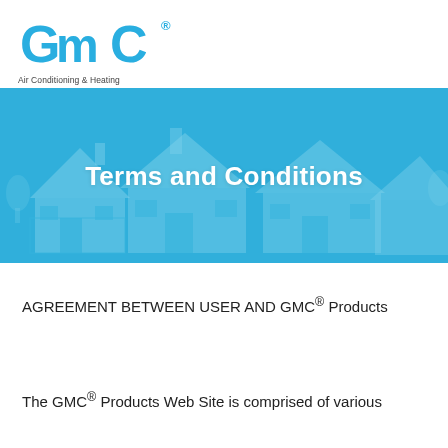[Figure (logo): GMC Air Conditioning & Heating logo with blue stylized letters G, m, C and a registered trademark symbol]
[Figure (photo): Blue-tinted banner image showing suburban houses with the title 'Terms and Conditions' overlaid in white bold text]
AGREEMENT BETWEEN USER AND GMC® Products
The GMC® Products Web Site is comprised of various